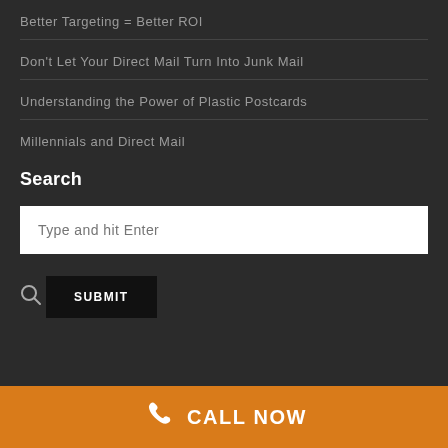Better Targeting = Better ROI
Don't Let Your Direct Mail Turn Into Junk Mail
Understanding the Power of Plastic Postcards
Millennials and Direct Mail
Search
Type and hit Enter
SUBMIT
CALL NOW